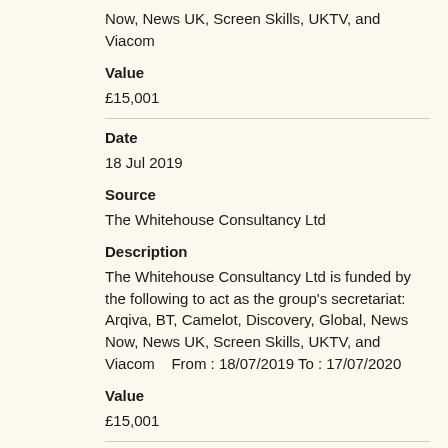Now, News UK, Screen Skills, UKTV, and Viacom
Value
£15,001
Date
18 Jul 2019
Source
The Whitehouse Consultancy Ltd
Description
The Whitehouse Consultancy Ltd is funded by the following to act as the group's secretariat: Arqiva, BT, Camelot, Discovery, Global, News Now, News UK, Screen Skills, UKTV, and Viacom   From : 18/07/2019 To : 17/07/2020
Value
£15,001
Date
18 Jul 2018
Source